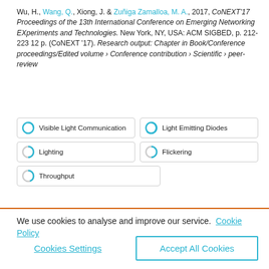Wu, H., Wang, Q., Xiong, J. & Zuñiga Zamalloa, M. A., 2017, CoNEXT'17 Proceedings of the 13th International Conference on Emerging Networking EXperiments and Technologies. New York, NY, USA: ACM SIGBED, p. 212-223 12 p. (CoNEXT '17). Research output: Chapter in Book/Conference proceedings/Edited volume › Conference contribution › Scientific › peer-review
Visible Light Communication
Light Emitting Diodes
Lighting
Flickering
Throughput
We use cookies to analyse and improve our service. Cookie Policy
Cookies Settings
Accept All Cookies